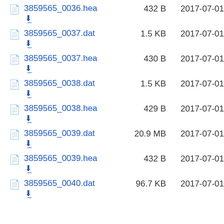3859565_0036.hea  432 B  2017-07-01
3859565_0037.dat  1.5 KB  2017-07-01
3859565_0037.hea  430 B  2017-07-01
3859565_0038.dat  1.5 KB  2017-07-01
3859565_0038.hea  429 B  2017-07-01
3859565_0039.dat  20.9 MB  2017-07-01
3859565_0039.hea  432 B  2017-07-01
3859565_0040.dat  96.7 KB  2017-07-01